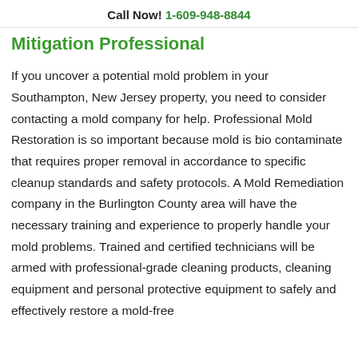Call Now! 1-609-948-8844
Mitigation Professional
If you uncover a potential mold problem in your Southampton, New Jersey property, you need to consider contacting a mold company for help. Professional Mold Restoration is so important because mold is bio contaminate that requires proper removal in accordance to specific cleanup standards and safety protocols. A Mold Remediation company in the Burlington County area will have the necessary training and experience to properly handle your mold problems. Trained and certified technicians will be armed with professional-grade cleaning products, cleaning equipment and personal protective equipment to safely and effectively restore a mold-free